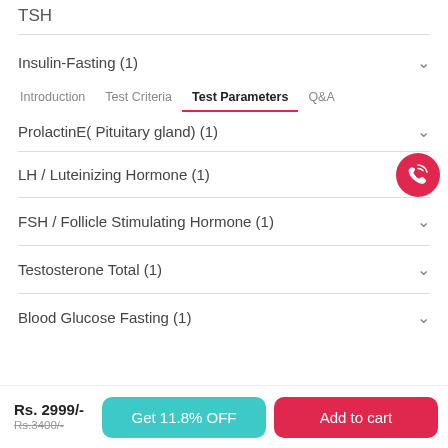TSH
Insulin-Fasting (1)
Introduction   Test Criteria   Test Parameters   Q&A
ProlactinE( Pituitary gland) (1)
LH / Luteinizing Hormone (1)
FSH / Follicle Stimulating Hormone (1)
Testosterone Total (1)
Blood Glucose Fasting (1)
Rs. 2999/- Rs.3400/-
Get 11.8% OFF
Add to cart